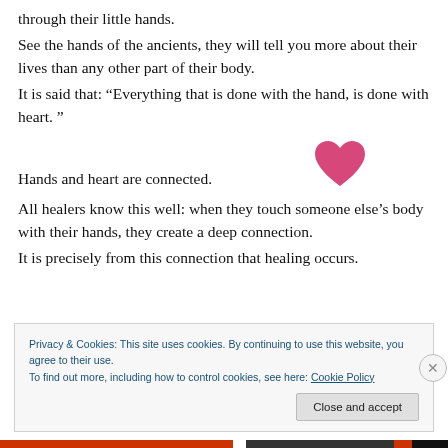through their little hands.
See the hands of the ancients, they will tell you more about their lives than any other part of their body.
It is said that: “Everything that is done with the hand, is done with heart. ”
[Figure (illustration): Pink/magenta heart emoji icon]
Hands and heart are connected.
All healers know this well: when they touch someone else’s body with their hands, they create a deep connection.
It is precisely from this connection that healing occurs.
Privacy & Cookies: This site uses cookies. By continuing to use this website, you agree to their use.
To find out more, including how to control cookies, see here: Cookie Policy
Close and accept